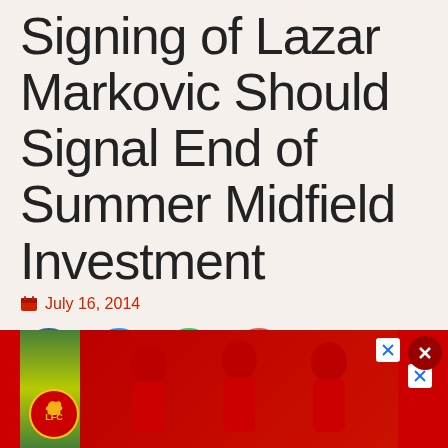Signing of Lazar Markovic Should Signal End of Summer Midfield Investment
July 16, 2014
[Figure (infographic): Social share buttons: Facebook (blue circle), Twitter (light blue circle), WhatsApp (green circle), Email (red-orange circle)]
[Figure (photo): Liverpool FC advertisement banner showing three players in red LFC kits with the LFC crest/logo visible, with close buttons overlaid]